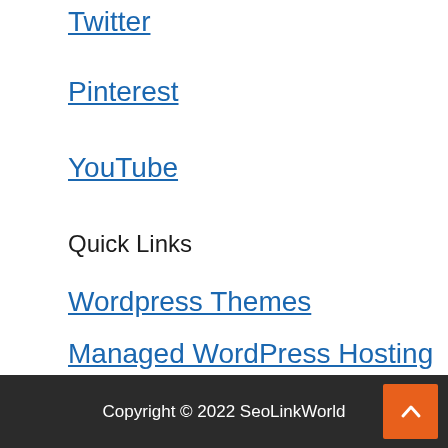Twitter
Pinterest
YouTube
Quick Links
Wordpress Themes
Managed WordPress Hosting
Best Website Builder
Best Blogging Platform
Copyright © 2022 SeoLinkWorld